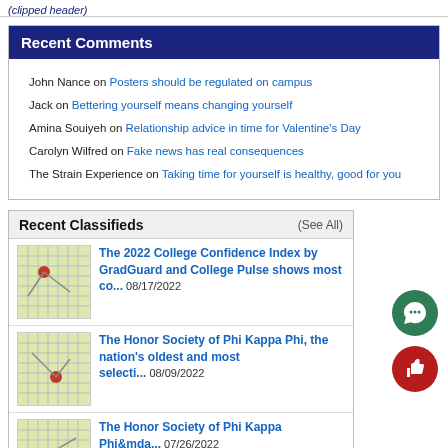(clipped header bar)
Recent Comments
John Nance on Posters should be regulated on campus
Jack on Bettering yourself means changing yourself
Amina Souiyeh on Relationship advice in time for Valentine's Day
Carolyn Wilfred on Fake news has real consequences
The Strain Experience on Taking time for yourself is healthy, good for you
Recent Classifieds (See All)
The 2022 College Confidence Index by GradGuard and College Pulse shows most co... 08/17/2022
The Honor Society of Phi Kappa Phi, the nation's oldest and most selecti... 08/09/2022
The Honor Society of Phi Kappa Phi&mda... 07/26/2022